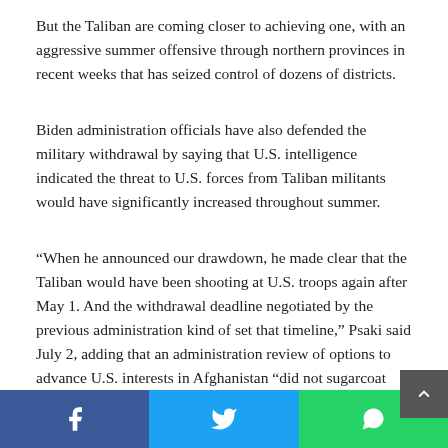But the Taliban are coming closer to achieving one, with an aggressive summer offensive through northern provinces in recent weeks that has seized control of dozens of districts.
Biden administration officials have also defended the military withdrawal by saying that U.S. intelligence indicated the threat to U.S. forces from Taliban militants would have significantly increased throughout summer.
“When he announced our drawdown, he made clear that the Taliban would have been shooting at U.S. troops again after May 1. And the withdrawal deadline negotiated by the previous administration kind of set that timeline,” Psaki said July 2, adding that an administration review of options to advance U.S. interests in Afghanistan “did not sugarcoat what the likely outcomes would be” with continued engagement in the regi